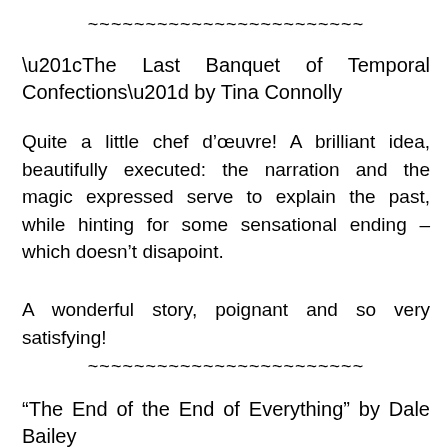~~~~~~~~~~~~~~~~~~~~~~~~
“The Last Banquet of Temporal Confections” by Tina Connolly
Quite a little chef d’œuvre! A brilliant idea, beautifully executed: the narration and the magic expressed serve to explain the past, while hinting for some sensational ending – which doesn’t disapoint.
A wonderful story, poignant and so very satisfying!
~~~~~~~~~~~~~~~~~~~~~~~~
“The End of the End of Everything” by Dale Bailey